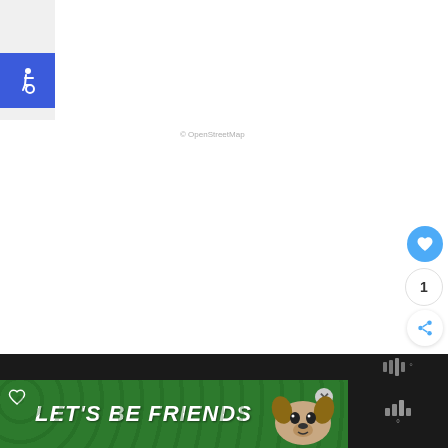[Figure (screenshot): Screenshot of a web map application. Main area is a white/light grey map view. Top-left has a blue square accessibility icon (wheelchair symbol). Right side has a blue circular like/heart button, a white circle with '1', and a white share button. Bottom has a dark bar and a green ad banner reading "LET'S BE FRIENDS" with a dog image and a weather widget on the far right.]